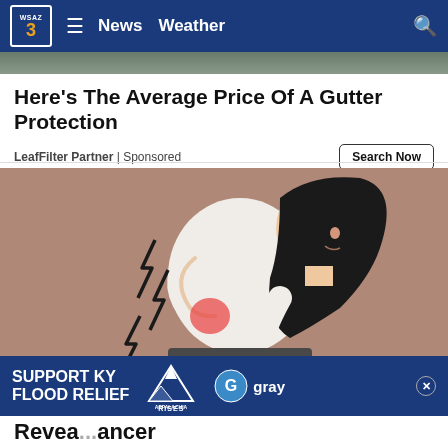WSAZ 3 News Weather
Here's The Average Price Of A Gutter Protection
LeafFilter Partner | Sponsored
[Figure (illustration): Cartoon illustration of a woman bending forward holding her lower back in pain, with lightning bolt symbols indicating pain. Background is a muted rose/brown color.]
SUPPORT KY FLOOD RELIEF — Appalachia Rises — gray
Revea... ancer